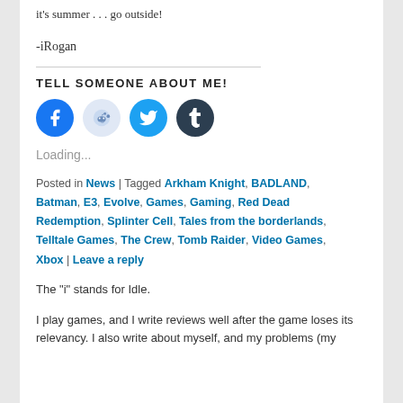it's summer . . . go outside!
-iRogan
TELL SOMEONE ABOUT ME!
[Figure (other): Social media sharing icons: Facebook (blue circle), Reddit (light blue circle), Twitter (blue circle), Tumblr (dark navy circle)]
Loading...
Posted in News | Tagged Arkham Knight, BADLAND, Batman, E3, Evolve, Games, Gaming, Red Dead Redemption, Splinter Cell, Tales from the borderlands, Telltale Games, The Crew, Tomb Raider, Video Games, Xbox | Leave a reply
The "i" stands for Idle.
I play games, and I write reviews well after the game loses its relevancy. I also write about myself, and my problems (my